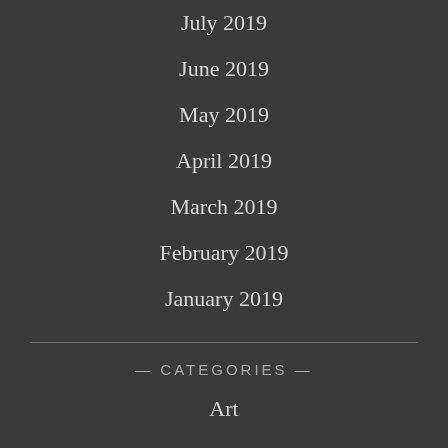July 2019
June 2019
May 2019
April 2019
March 2019
February 2019
January 2019
— CATEGORIES —
Art
Automobile
Bag